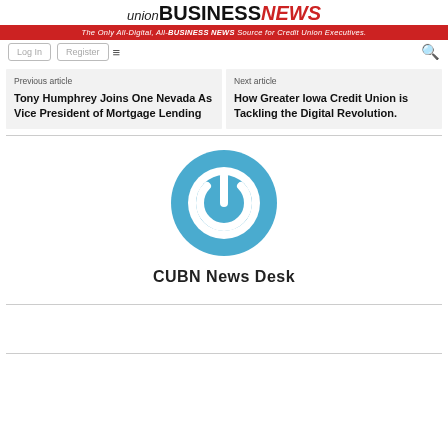union BUSINESS NEWS — The Only All-Digital, All-BUSINESS NEWS Source for Credit Union Executives.
Log In | Register
Previous article
Tony Humphrey Joins One Nevada As Vice President of Mortgage Lending
Next article
How Greater Iowa Credit Union is Tackling the Digital Revolution.
[Figure (logo): CUBN power button logo — circular teal icon with a power symbol]
CUBN News Desk